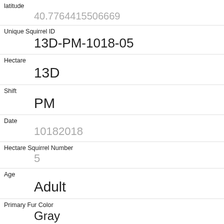| Field | Value |
| --- | --- |
| latitude | 40.7764415506669 |
| Unique Squirrel ID | 13D-PM-1018-05 |
| Hectare | 13D |
| Shift | PM |
| Date | 10182018 |
| Hectare Squirrel Number | 5 |
| Age | Adult |
| Primary Fur Color | Gray |
| Highlight Fur Color | Cinnamon, White |
| Combination of Primary and Highlight Color | Gray+Cinnamon, White |
| Color notes |  |